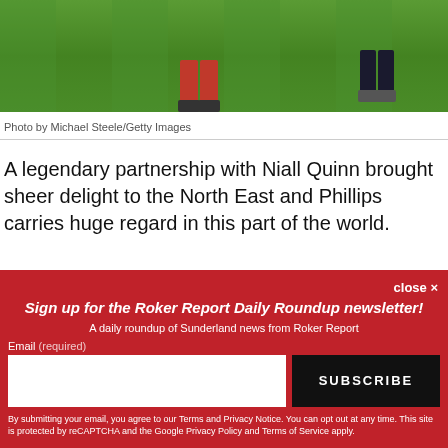[Figure (photo): Football/soccer player on green grass pitch, partial view showing legs and cleats, green field background]
Photo by Michael Steele/Getty Images
A legendary partnership with Niall Quinn brought sheer delight to the North East and Phillips carries huge regard in this part of the world.
close ×
Sign up for the Roker Report Daily Roundup newsletter!
A daily roundup of Sunderland news from Roker Report
Email (required)
SUBSCRIBE
By submitting your email, you agree to our Terms and Privacy Notice. You can opt out at any time. This site is protected by reCAPTCHA and the Google Privacy Policy and Terms of Service apply.